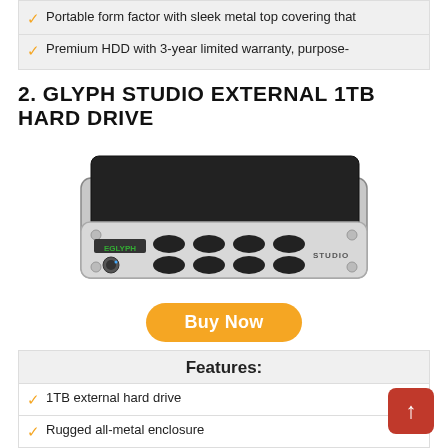Portable form factor with sleek metal top covering that
Premium HDD with 3-year limited warranty, purpose-
2. GLYPH STUDIO EXTERNAL 1TB HARD DRIVE
[Figure (photo): Glyph Studio external hard drive unit, silver and black metal enclosure with oval ventilation grilles and logo on front]
Buy Now
Features:
1TB external hard drive
Rugged all-metal enclosure
USB 3.0, FireWire, and eSATA with speeds up to
Pro-grade internal power supply with auto-sensing